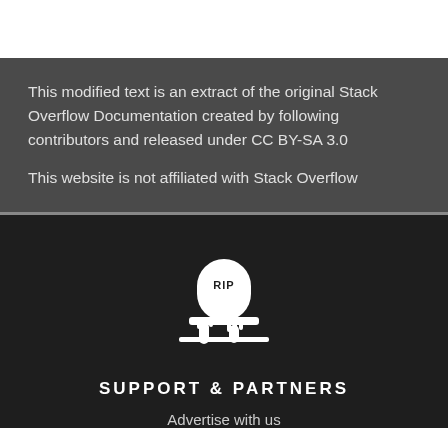This modified text is an extract of the original Stack Overflow Documentation created by following contributors and released under CC BY-SA 3.0

This website is not affiliated with Stack Overflow
[Figure (logo): RIP gravestone with zombie hand icon — white silhouette on dark background]
SUPPORT & PARTNERS
Advertise with us